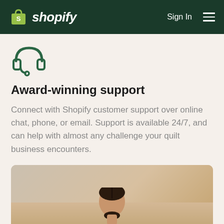shopify — Sign In
[Figure (illustration): Green headset/headphones icon with microphone]
Award-winning support
Connect with Shopify customer support over online chat, phone, or email. Support is available 24/7, and can help with almost any challenge your quilt business encounters.
[Figure (photo): Photo of a woman with dark hair pulled back, looking down, warm neutral background]